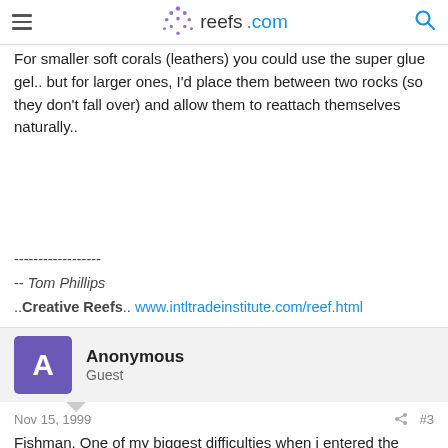reefs.com
For smaller soft corals (leathers) you could use the super glue gel.. but for larger ones, I'd place them between two rocks (so they don't fall over) and allow them to reattach themselves naturally..
------------------
-- Tom Phillips
..Creative Reefs.. www.intltradeinstitute.com/reef.html
Anonymous
Guest
Nov 15, 1999  #3
Fishman, One of my biggest difficulties when i entered the hobby was getting leather to stick to the rock. What has worked wonders for me has been small tacks or finishing nails. Just be certain that they are not copper as that would be bad for your